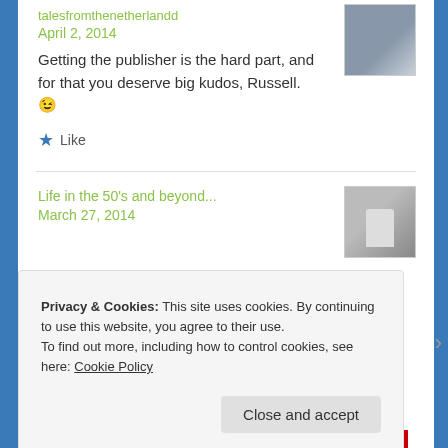talesfromthenetherlandd
April 2, 2014
Getting the publisher is the hard part, and for that you deserve big kudos, Russell. 😉
Like
Life in the 50's and beyond...
March 27, 2014
Privacy & Cookies: This site uses cookies. By continuing to use this website, you agree to their use.
To find out more, including how to control cookies, see here: Cookie Policy
Close and accept